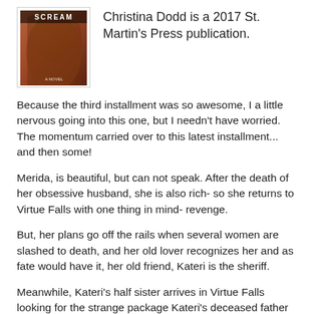[Figure (photo): Book cover of 'Scream' by Christina Dodd — shows a woman with long hair, title 'SCREAM' in red text at top, 'A NOVEL' text visible]
Christina Dodd is a 2017 St. Martin's Press publication.
Because the third installment was so awesome, I a little nervous going into this one, but I needn't have worried. The momentum carried over to this latest installment... and then some!
Merida, is beautiful, but can not speak. After the death of her obsessive husband, she is also rich- so she returns to Virtue Falls with one thing in mind- revenge.
But, her plans go off the rails when several women are slashed to death, and her old lover recognizes her and as fate would have it, her old friend, Kateri is the sheriff.
Meanwhile, Kateri's half sister arrives in Virtue Falls looking for the strange package Kateri's deceased father sent her,